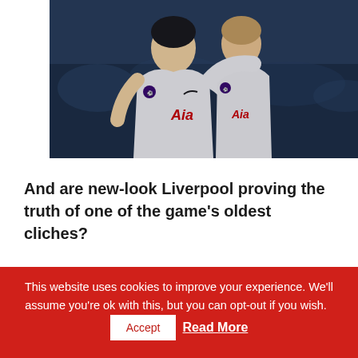[Figure (photo): Two Tottenham Hotspur players in white jerseys with AIA sponsor celebrating, Premier League badges visible, dark background with crowd]
And are new-look Liverpool proving the truth of one of the game's oldest cliches?
This website uses cookies to improve your experience. We'll assume you're ok with this, but you can opt-out if you wish. Accept Read More